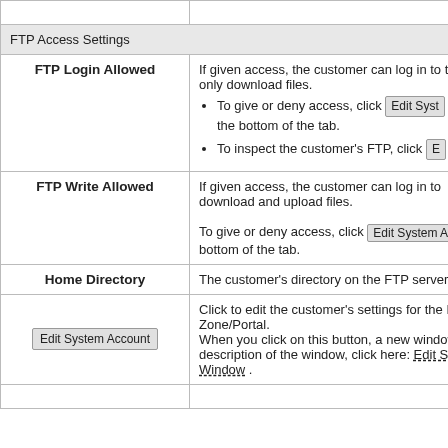|  |  |
| --- | --- |
| FTP Access Settings |  |
| FTP Login Allowed | If given access, the customer can log in to the... only download files.
• To give or deny access, click Edit Syst... the bottom of the tab.
• To inspect the customer's FTP, click E... |
| FTP Write Allowed | If given access, the customer can log in to th... download and upload files.
To give or deny access, click Edit System Acco... bottom of the tab. |
| Home Directory | The customer's directory on the FTP server. |
| Edit System Account | Click to edit the customer's settings for the P... Zone/Portal.
When you click on this button, a new window... description of the window, click here: Edit Sys... Window. |